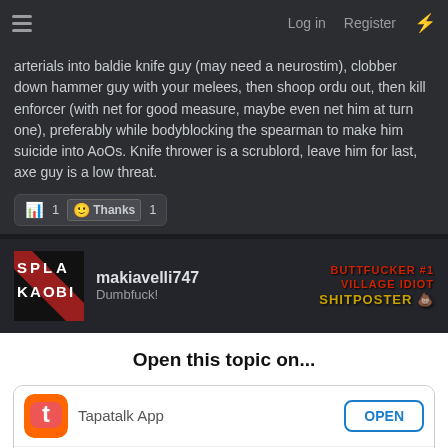Log in  Register
arterials into baldie knife guy (may need a neurostim), clobber down hammer guy with your melees, then shoop ordu out, then kill enforcer (with net for good measure, maybe even net him at turn one), preferably while bodyblocking the spearman to make him suicide into AoOs. Knife thrower is a scrublord, leave him for last, axe guy is a low threat.
[Figure (other): Reaction bar with bar icon (1) and Thanks smiley (1)]
[Figure (other): Forum user post: avatar showing SPLAOBI logo, username makiavelli747, title Dumbfuck!, tags: BUTTFUCKER #1, VILLAGE IDIOT, SHITPOSTER]
Open this topic on...
[Figure (other): Tapatalk App row with orange Tapatalk icon and OPEN button]
[Figure (other): Second app row with Safari icon, Petco ad banner (Your One-Stop Summer Pet Shop), road sign icon, and TINUE (CONTINUE) button]